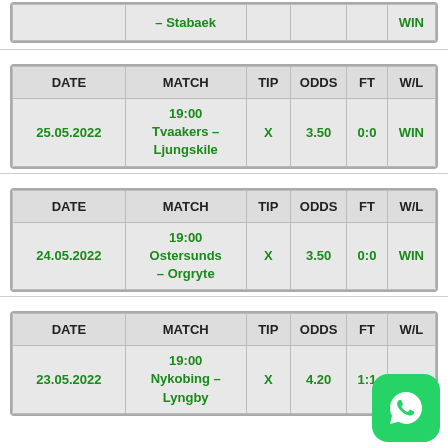| DATE | MATCH | TIP | ODDS | FT | W/L |
| --- | --- | --- | --- | --- | --- |
|  | – Stabaek |  |  |  | WIN |
| DATE | MATCH | TIP | ODDS | FT | W/L |
| --- | --- | --- | --- | --- | --- |
| 25.05.2022 | 19:00
Tvaakers – Ljungskile | X | 3.50 | 0:0 | WIN |
| DATE | MATCH | TIP | ODDS | FT | W/L |
| --- | --- | --- | --- | --- | --- |
| 24.05.2022 | 19:00
Ostersunds – Orgryte | X | 3.50 | 0:0 | WIN |
| DATE | MATCH | TIP | ODDS | FT | W/L |
| --- | --- | --- | --- | --- | --- |
| 23.05.2022 | 19:00
Nykobing – Lyngby | X | 4.20 | 1:1 |  |